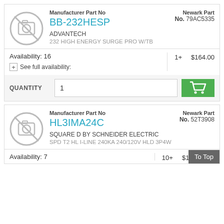[Figure (other): No image placeholder icon (camera with slash through it) for product BB-232HESP]
Manufacturer Part No
BB-232HESP
Newark Part No. 79AC5335
ADVANTECH
232 HIGH ENERGY SURGE PRO W/TB
Availability: 16
1+    $164.00
+ See full availability:
QUANTITY  1
[Figure (other): No image placeholder icon (camera with slash through it) for product HL3IMA24C]
Manufacturer Part No
HL3IMA24C
Newark Part No. 52T3908
SQUARE D BY SCHNEIDER ELECTRIC
SPD T2 HL I-LINE 240KA 240/120V HLD 3P4W
Availability: 7
10+    $14,367.23
To Top